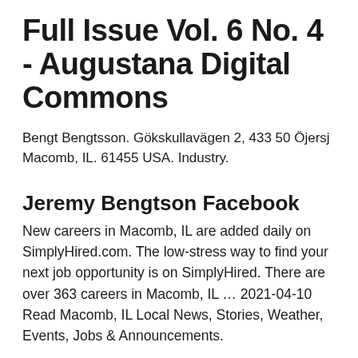Full Issue Vol. 6 No. 4 - Augustana Digital Commons
Bengt Bengtsson. Gökskullavägen 2, 433 50 Öjersj Macomb, IL. 61455 USA. Industry.
Jeremy Bengtson Facebook
New careers in Macomb, IL are added daily on SimplyHired.com. The low-stress way to find your next job opportunity is on SimplyHired. There are over 363 careers in Macomb, IL … 2021-04-10 Read Macomb, IL Local News, Stories, Weather, Events, Jobs & Announcements.